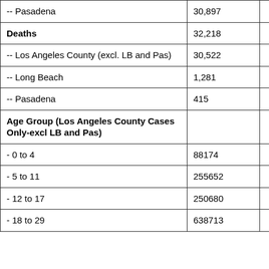| -- Pasadena | 30,897 |  |
| Deaths | 32,218 |  |
| -- Los Angeles County (excl. LB and Pas) | 30,522 |  |
| -- Long Beach | 1,281 |  |
| -- Pasadena | 415 |  |
| Age Group (Los Angeles County Cases Only-excl LB and Pas) |  |  |
| - 0 to 4 | 88174 |  |
| - 5 to 11 | 255652 |  |
| - 12 to 17 | 250680 |  |
| - 18 to 29 | 638713 |  |